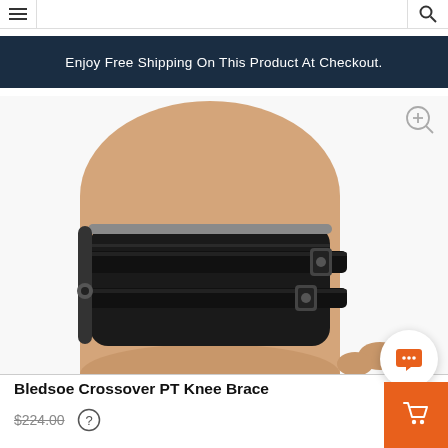Enjoy Free Shipping On This Product At Checkout.
[Figure (photo): Close-up photo of a black knee brace (Bledsoe Crossover PT Knee Brace) worn on a person's leg, showing straps and frame hardware against a white background.]
Bledsoe Crossover PT Knee Brace
$224.00